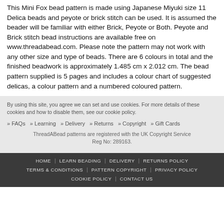This Mini Fox bead pattern is made using Japanese Miyuki size 11 Delica beads and peyote or brick stitch can be used. It is assumed the beader will be familiar with either Brick, Peyote or Both. Peyote and Brick stitch bead instructions are available free on www.threadabead.com. Please note the pattern may not work with any other size and type of beads. There are 6 colours in total and the finished beadwork is approximately 1.485 cm x 2.012 cm. The bead pattern supplied is 5 pages and includes a colour chart of suggested delicas, a colour pattern and a numbered coloured pattern.
By using this site, you agree we can set and use cookies. For more details of these cookies and how to disable them, see our cookie policy.
» FAQs  » Learning  » Delivery  » Returns  » Copyright  » Gift Cards
ThreadABead patterns are registered with the UK Copyright Service Reg No: 289163.
HOME | LEARN BEADING | DELIVERY | RETURNS POLICY | TERMS & CONDITIONS | PATTERN COPYRIGHT | PRIVACY POLICY | COOKIE POLICY | CONTACT US